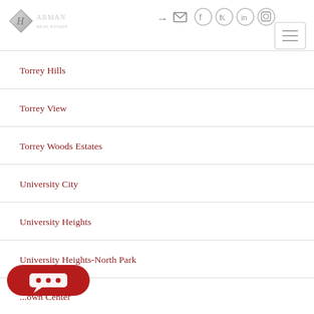[Figure (logo): Diamond-shaped logo with letter H and faded text brand name]
[Figure (screenshot): Social media and navigation icons: login, email, Facebook, Twitter, LinkedIn, Instagram, hamburger menu button]
Torrey Hills
Torrey View
Torrey Woods Estates
University City
University Heights
University Heights-North Park
...own Center
[Figure (other): Red chat bubble button with three dots]